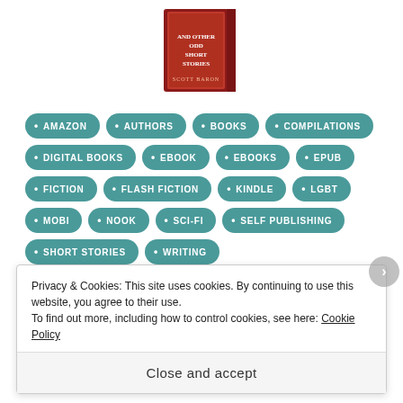[Figure (photo): Book cover shown partially at top of page — red and cream cover with decorative lettering]
AMAZON
AUTHORS
BOOKS
COMPILATIONS
DIGITAL BOOKS
EBOOK
EBOOKS
EPUB
FICTION
FLASH FICTION
KINDLE
LGBT
MOBI
NOOK
SCI-FI
SELF PUBLISHING
SHORT STORIES
WRITING
Privacy & Cookies: This site uses cookies. By continuing to use this website, you agree to their use.
To find out more, including how to control cookies, see here: Cookie Policy
Close and accept